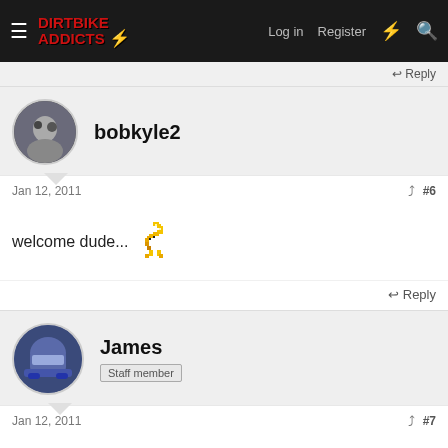Dirtbike Addicts — Log in | Register
↩ Reply
bobkyle2
Jan 12, 2011  #6
welcome dude... 🍌
↩ Reply
James
Staff member
Jan 12, 2011  #7
😎-🔗-😎 Welcome crf150f aka greg. Have any pictures of your bike?